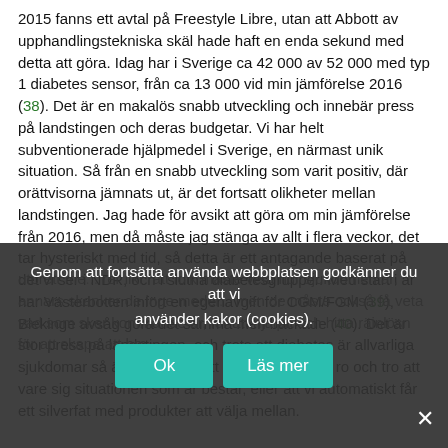2015 fanns ett avtal på Freestyle Libre, utan att Abbott av upphandlingstekniska skäl hade haft en enda sekund med detta att göra. Idag har i Sverige ca 42 000 av 52 000 med typ 1 diabetes sensor, från ca 13 000 vid min jämförelse 2016 (38). Det är en makalös snabb utveckling och innebär press på landstingen och deras budgetar. Vi har helt subventionerade hjälpmedel i Sverige, en närmast unik situation. Så från en snabb utveckling som varit positiv, där orättvisorna jämnats ut, är det fortsatt olikheter mellan landstingen. Jag hade för avsikt att göra om min jämförelse från 2016, men då måste jag stänga av allt i flera veckor, det tar hysteriskt med tid, så detta är ett antagande baserat på det vi ser i NDR, och i slutna diabetesgrupper. Med start i år har Västerbotten infört en egenavgift för CGM/FGM (39), Blekinge avsåg göra det samma men backade (40). Det är stor press på landstingen, och trots att diabetes är allvarliga sjukdomar så är det inte så att vi kan slå oss till ro och tro att vare sig situationen som är består, eller att vi automatiskt får ett silverfat med produkter att välja mellan.
Genom att fortsätta använda webbplatsen godkänner du att vi använder kakor (cookies).
utbrett me... rer likt "att folk måste veta hur sjukdomen är, annars skanker de inge medel... men de måste också få veta vad som sker kommande år, för att hjälpa och hitta räinlösn för att skapa att hm...